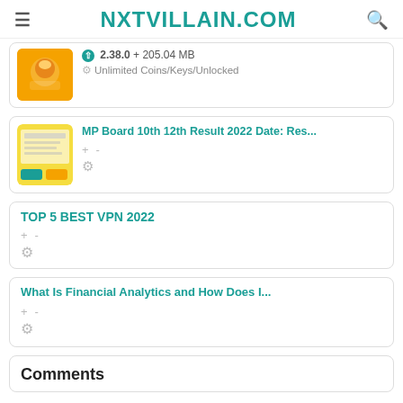NXTVILLAIN.COM
2.38.0 + 205.04 MB
Unlimited Coins/Keys/Unlocked
MP Board 10th 12th Result 2022 Date: Res...
TOP 5 BEST VPN 2022
What Is Financial Analytics and How Does I...
Comments